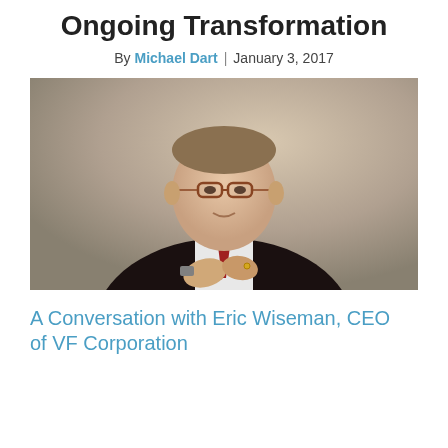Ongoing Transformation
By Michael Dart | January 3, 2017
[Figure (photo): Portrait photo of Eric Wiseman, a middle-aged man in a dark suit and red tie with glasses, gesturing with his hands while speaking.]
A Conversation with Eric Wiseman, CEO of VF Corporation